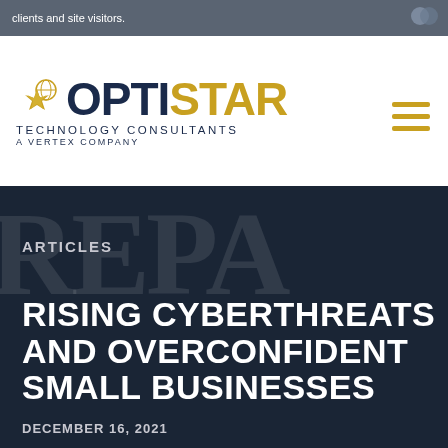clients and site visitors.
[Figure (logo): OptiStar Technology Consultants - A Vertex Company logo with star icon in gold and dark navy text]
ARTICLES
RISING CYBERTHREATS AND OVERCONFIDENT SMALL BUSINESSES
DECEMBER 16, 2021